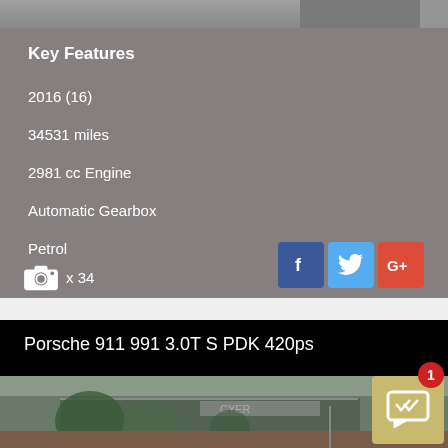[Figure (photo): Top portion of a car listing page, cropped image showing top of a car]
Key Features
2016 (16)
34531 miles
2981 cc Engine
Automatic Gearbox
Petrol
x 34
[Figure (logo): Social media icons: Facebook, Twitter, Google+]
Porsche 911 991 3.0T S PDK 420ps
[Figure (photo): Photo of a Porsche dealership exterior with trees in background]
[Figure (infographic): Notification badge showing 1 unread message with gold message icon]